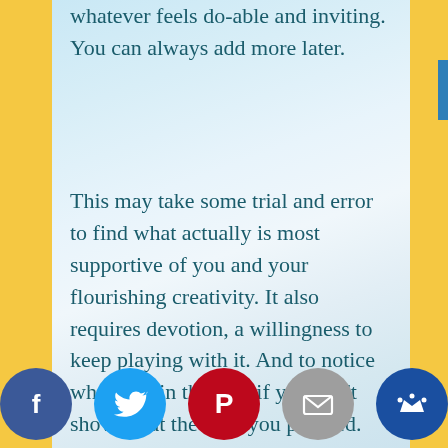whatever feels do-able and inviting. You can always add more later.
This may take some trial and error to find what actually is most supportive of you and your flourishing creativity. It also requires devotion, a willingness to keep playing with it. And to notice what gets in the way if you don't show up at the time you planned. What changes do you need to make?
There are many helpful routines for establishing… you lov…